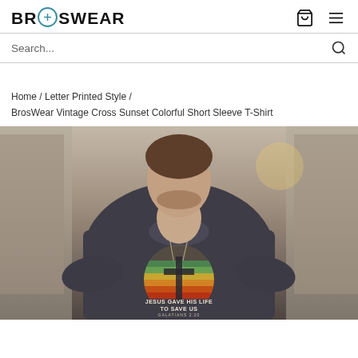BROSWEAR
Search...
Home / Letter Printed Style / BrosWear Vintage Cross Sunset Colorful Short Sleeve T-Shirt
[Figure (photo): A muscular man walking outdoors in an alley wearing a dark grey t-shirt with a vintage retro sunset cross graphic print reading 'JESUS GAVE HIS LIFE TO SAVE US' and wearing a dog tag necklace. Blurred urban street background.]